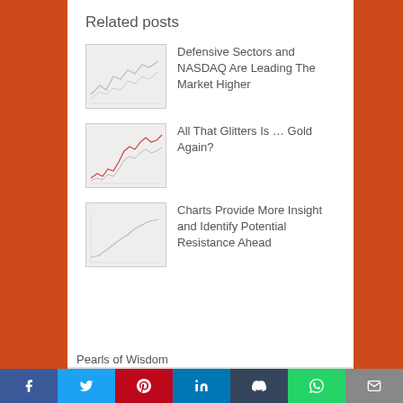Related posts
Defensive Sectors and NASDAQ Are Leading The Market Higher
All That Glitters Is … Gold Again?
Charts Provide More Insight and Identify Potential Resistance Ahead
← Morning Notes – Friday February 17, 2017
Morning Notes – Tuesday February 21, 2017 →
Pearls of Wisdom